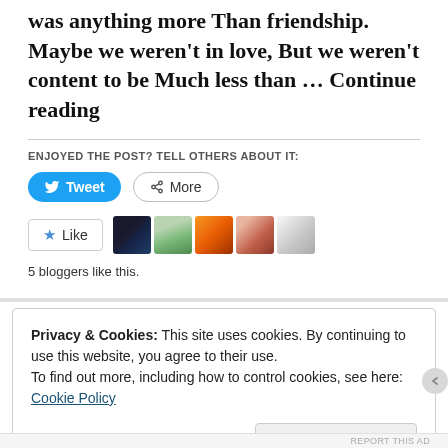was anything more Than friendship. Maybe we weren't in love, But we weren't content to be Much less than … Continue reading
ENJOYED THE POST? TELL OTHERS ABOUT IT:
[Figure (screenshot): Tweet and More social sharing buttons]
[Figure (screenshot): Like button with 5 blogger avatars]
5 bloggers like this.
Privacy & Cookies: This site uses cookies. By continuing to use this website, you agree to their use.
To find out more, including how to control cookies, see here: Cookie Policy
Close and accept